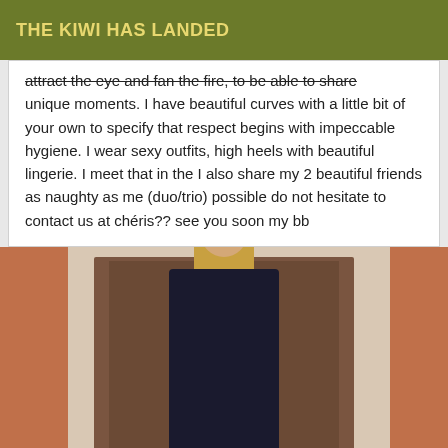THE KIWI HAS LANDED
attract the eye and fan the fire, to be able to share unique moments. I have beautiful curves with a little bit of your own to specify that respect begins with impeccable hygiene. I wear sexy outfits, high heels with beautiful lingerie. I meet that in the I also share my 2 beautiful friends as naughty as me (duo/trio) possible do not hesitate to contact us at chéris?? see you soon my bb
[Figure (photo): Young blonde woman in a black dress standing in front of a door with ice cream cone decorative panels, flanked by terracotta-colored wall frames.]